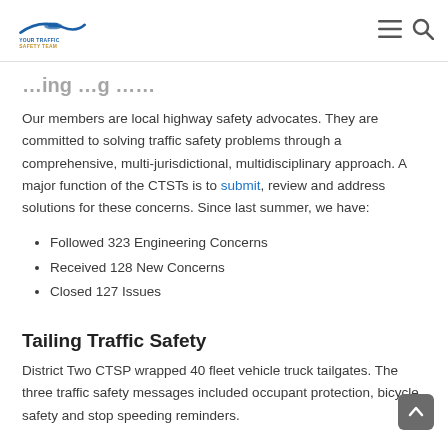YOUR TRAFFIC SAFETY TEAM
...ing ...g ...
Our members are local highway safety advocates. They are committed to solving traffic safety problems through a comprehensive, multi-jurisdictional, multidisciplinary approach. A major function of the CTSTs is to submit, review and address solutions for these concerns. Since last summer, we have:
Followed 323 Engineering Concerns
Received 128 New Concerns
Closed 127 Issues
Tailing Traffic Safety
District Two CTSP wrapped 40 fleet vehicle truck tailgates. The three traffic safety messages included occupant protection, bicycle safety and stop speeding reminders.